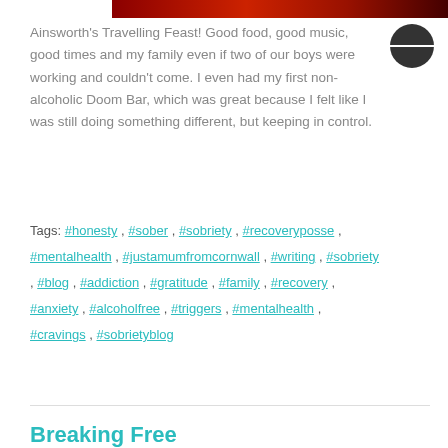[Figure (photo): Partial cropped image at top of page showing red/dark colored food or scene]
Ainsworth's Travelling Feast! Good food, good music, good times and my family even if two of our boys were working and couldn't come. I even had my first non-alcoholic Doom Bar, which was great because I felt like I was still doing something different, but keeping in control.
Tags: #honesty , #sober , #sobriety , #recoveryposse , #mentalhealth , #justamumfromcornwall , #writing , #sobriety , #blog , #addiction , #gratitude , #family , #recovery , #anxiety , #alcoholfree , #triggers , #mentalhealth , #cravings , #sobrietyblog
Breaking Free